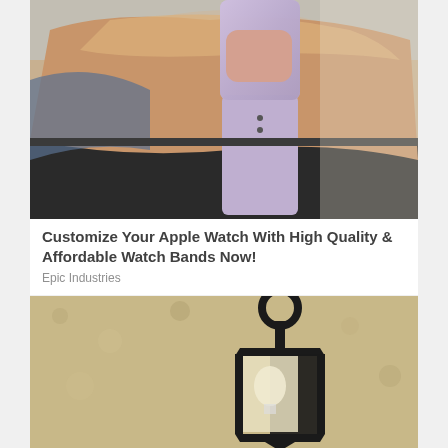[Figure (photo): Close-up photo of a wrist wearing an Apple Watch with a light purple/lavender silicone watch band, resting on a dark surface outdoors]
Customize Your Apple Watch With High Quality & Affordable Watch Bands Now!
Epic Industries
[Figure (photo): Photo of a black metal outdoor wall lantern mounted on a textured stucco wall]